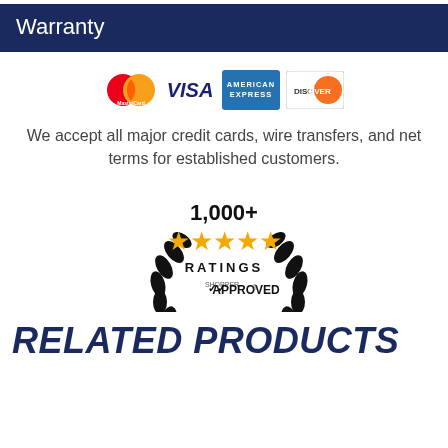Warranty
[Figure (logo): Payment method logos: MasterCard, VISA, American Express, Discover]
We accept all major credit cards, wire transfers, and net terms for established customers.
[Figure (logo): Shopper Approved badge: 1,000+ Ratings with 5 stars]
RELATED PRODUCTS